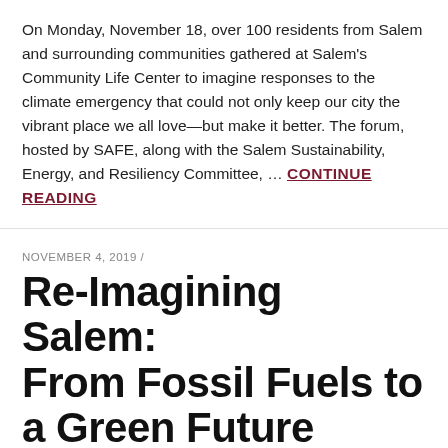On Monday, November 18, over 100 residents from Salem and surrounding communities gathered at Salem's Community Life Center to imagine responses to the climate emergency that could not only keep our city the vibrant place we all love—but make it better. The forum, hosted by SAFE, along with the Salem Sustainability, Energy, and Resiliency Committee, … CONTINUE READING
NOVEMBER 4, 2019 /
Re-Imagining Salem: From Fossil Fuels to a Green Future
Come and be inspired. Share your ideas and inspire others. Pose your questions. Let's tackle the climate crisis as an